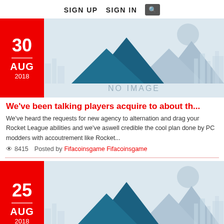SIGN UP   SIGN IN  🔍
[Figure (illustration): No image placeholder with mountain/city silhouette illustration, date badge showing 30 AUG 2018 in red]
We've been talking players acquire to about th...
We've heard the requests for new agency to alternation and drag your Rocket League abilities and we've aswell credible the cool plan done by PC modders with accoutrement like Rocket...
👁 8415   Posted by Fifacoinsgame Fifacoinsgame
[Figure (illustration): No image placeholder with mountain/city silhouette illustration, date badge showing 25 AUG 2018 in red]